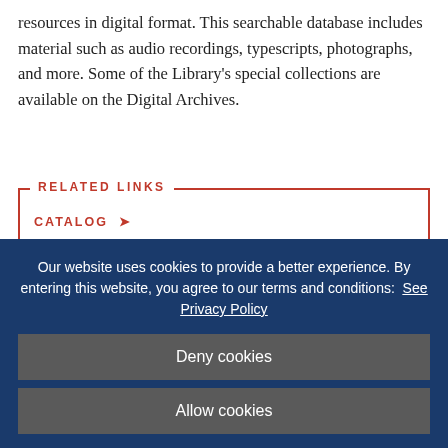resources in digital format. This searchable database includes material such as audio recordings, typescripts, photographs, and more. Some of the Library's special collections are available on the Digital Archives.
RELATED LINKS
CATALOG →
HOURS AND STAFF →
Our website uses cookies to provide a better experience. By entering this website, you agree to our terms and conditions: See Privacy Policy
Deny cookies
Allow cookies